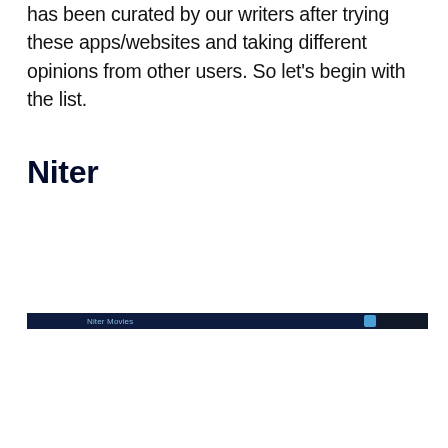has been curated by our writers after trying these apps/websites and taking different opinions from other users. So let's begin with the list.
Niter
[Figure (screenshot): Partial screenshot of the Niter Movies website showing a dark navigation bar with the text 'Niter Movies' and a blue icon element on the right side.]